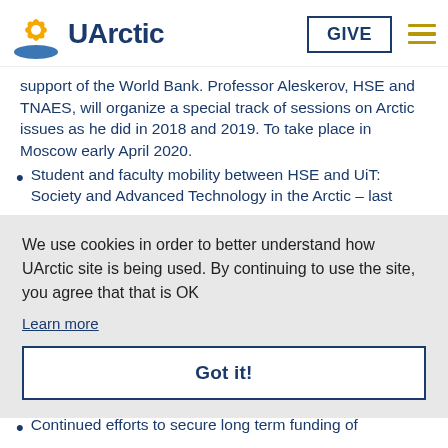UArctic
support of the World Bank. Professor Aleskerov, HSE and TNAES, will organize a special track of sessions on Arctic issues as he did in 2018 and 2019. To take place in Moscow early April 2020.
Student and faculty mobility between HSE and UiT: Society and Advanced Technology in the Arctic – last
[Figure (screenshot): Cookie consent popup overlay with text 'We use cookies in order to better understand how UArctic site is being used. By continuing to use the site, you agree that that is OK', a 'Learn more' link, and a 'Got it!' button.]
Continued efforts to secure long term funding of